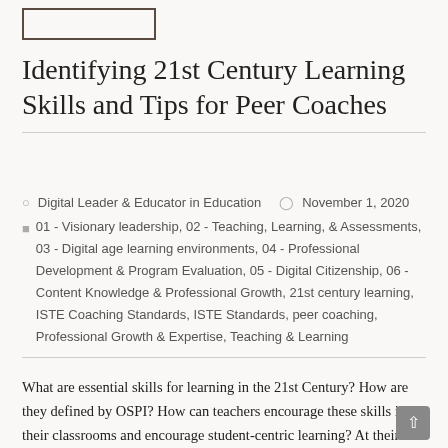[Figure (other): Small empty box/rectangle outline in top left corner]
Identifying 21st Century Learning Skills and Tips for Peer Coaches
Digital Leader & Educator in Education   November 1, 2020
01 - Visionary leadership, 02 - Teaching, Learning, & Assessments, 03 - Digital age learning environments, 04 - Professional Development & Program Evaluation, 05 - Digital Citizenship, 06 - Content Knowledge & Professional Growth, 21st century learning, ISTE Coaching Standards, ISTE Standards, peer coaching, Professional Growth & Expertise, Teaching & Learning
What are essential skills for learning in the 21st Century? How are they defined by OSPI? How can teachers encourage these skills in their classrooms and encourage student-centric learning? At their essence,